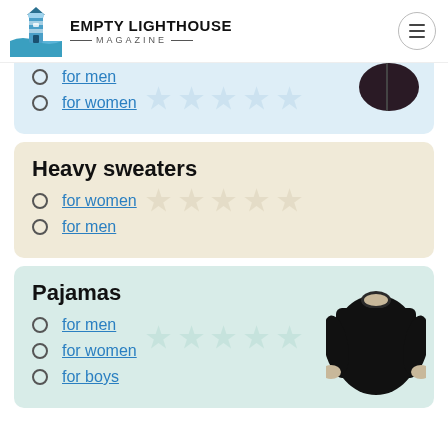Empty Lighthouse Magazine
for men
for women
Heavy sweaters
for women
for men
Pajamas
for men
for women
for boys